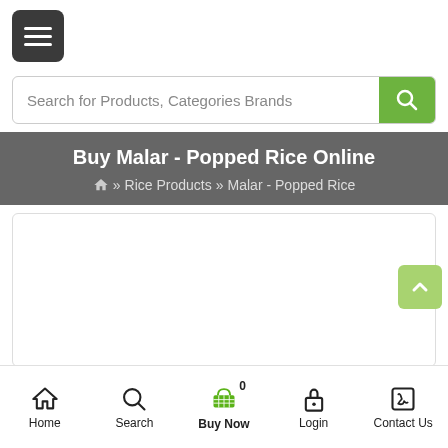[Figure (screenshot): Hamburger menu button (three white horizontal lines on dark gray rounded rectangle background)]
[Figure (screenshot): Search bar with placeholder text 'Search for Products, Categories Brands' and green search button with magnifying glass icon]
Buy Malar - Popped Rice Online
Home » Rice Products » Malar - Popped Rice
[Figure (photo): Product image area (white box with light border, product image not loaded)]
[Figure (screenshot): Light green scroll-to-top button with upward caret arrow]
Home  Search  Buy Now 0  Login  Contact Us